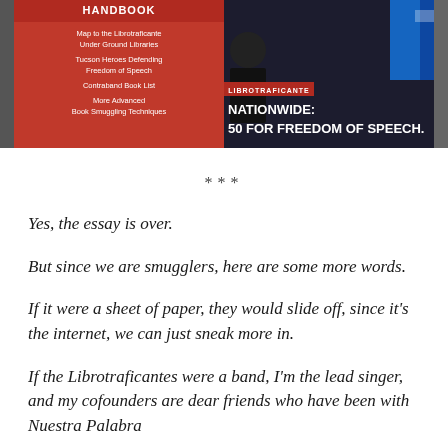[Figure (photo): Photo/banner of Librotraficante Handbook cover showing red background with text: 'Map to the Librotraficante Under Ground Libraries', 'Tucson Heroes Defending Freedom of Speech', 'Contraband Book List', 'More Advanced Book Smuggling Techniques', and on the right side dark background with 'LIBROTRAFICANTE' badge and 'NATIONWIDE: 50 FOR FREEDOM OF SPEECH']
***
Yes, the essay is over.
But since we are smugglers, here are some more words.
If it were a sheet of paper, they would slide off, since it's the internet, we can just sneak more in.
If the Librotraficantes were a band, I'm the lead singer, and my cofounders are dear friends who have been with Nuestra Palabra